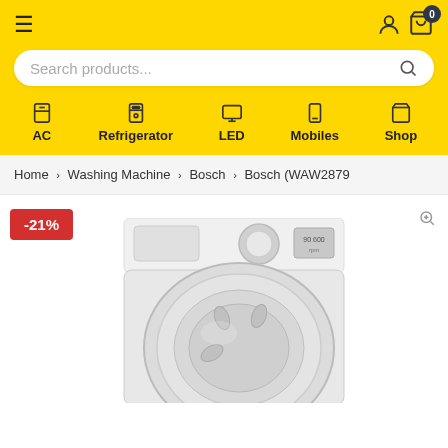Navigation header with hamburger menu, user icon, cart icon (0 items), search bar (Search products...), and categories: AC, Refrigerator, LED, Mobiles, Shop
Home > Washing Machine > Bosch > Bosch (WAW2879...
[Figure (photo): Product photo of Bosch washing machine (WAW28790) with -21% discount badge in red, zoom icon in top right, front-loading white washing machine visible]